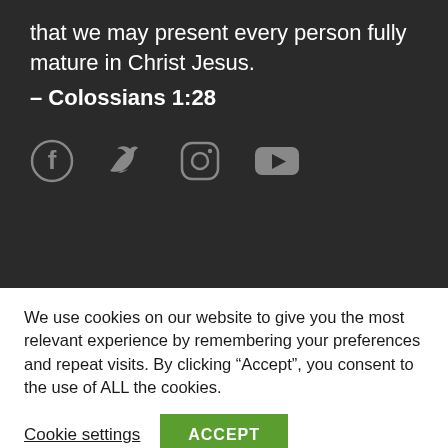that we may present every person fully mature in Christ Jesus.
– Colossians 1:28
[Figure (infographic): Social media icons: Facebook, Twitter, Instagram, YouTube]
ABOUT US
About Rick & Denise
Annual Report
We use cookies on our website to give you the most relevant experience by remembering your preferences and repeat visits. By clicking “Accept”, you consent to the use of ALL the cookies.
Cookie settings   ACCEPT